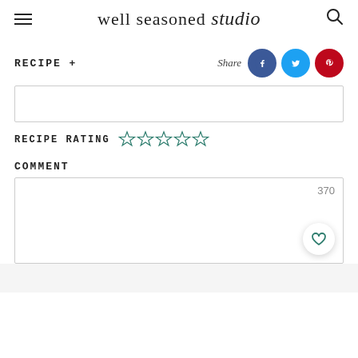well seasoned studio
RECIPE +
[Figure (other): Share icons: Facebook, Twitter, Pinterest]
RECIPE RATING (5 empty stars)
COMMENT
370